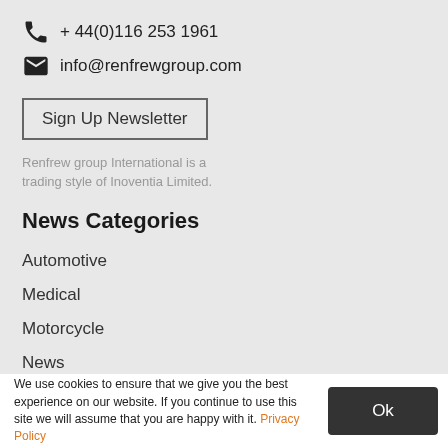+ 44(0)116 253 1961
info@renfrewgroup.com
Sign Up Newsletter
Renfrew group International is a trading style of Inoventia Limited.
News Categories
Automotive
Medical
Motorcycle
News
Product
We use cookies to ensure that we give you the best experience on our website. If you continue to use this site we will assume that you are happy with it. Privacy Policy